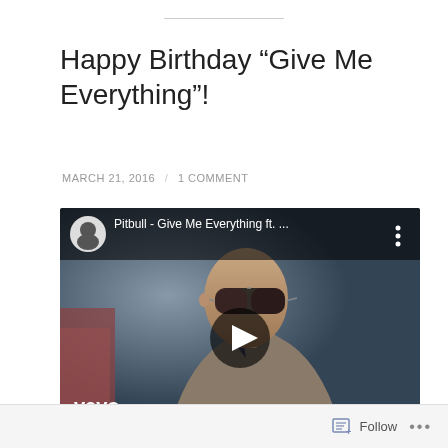Happy Birthday “Give Me Everything”!
MARCH 21, 2016 / 1 COMMENT
[Figure (screenshot): YouTube embedded video player showing Pitbull - Give Me Everything ft. ... with a man wearing sunglasses visible in the thumbnail and the Vevo logo in the bottom left corner]
Follow ...